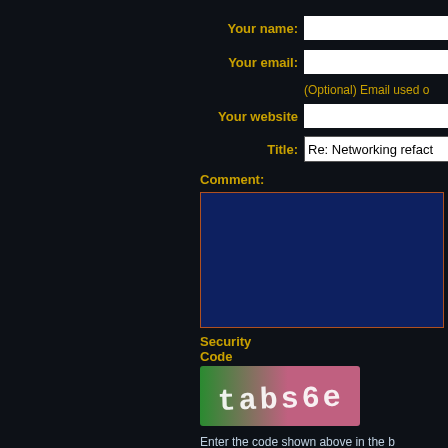Your name:
Your email:
(Optional) Email used o
Your website
Title:
Re: Networking refact
Comment:
Security Code
[Figure (other): CAPTCHA image showing text 'tabs6e' on a green-to-pink gradient background]
Enter the code shown above in the b
Add Comment  Cancel